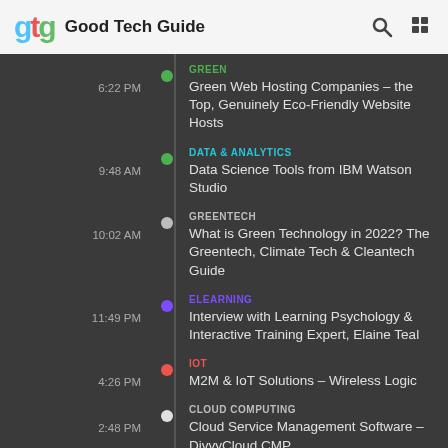Good Tech Guide
GREEN | 6:22 PM | Green Web Hosting Companies – the Top, Genuinely Eco-Friendly Website Hosts
DATA & ANALYTICS | 9:48 AM | Data Science Tools from IBM Watson Studio
GREENTECH | 10:02 AM | What is Green Technology in 2022? The Greentech, Climate Tech & Cleantech Guide
ELEARNING | 11:49 PM | Interview with Learning Psychology & Interactive Training Expert, Elaine Teal
IOT | 4:26 PM | M2M & IoT Solutions – Wireless Logic
CLOUD COMPUTING | 2:48 PM | Cloud Service Management Software – DivvyCloud CMP